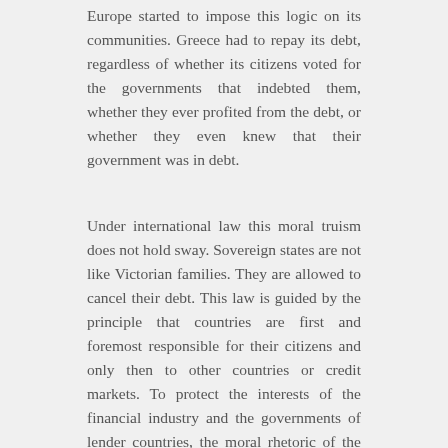Europe started to impose this logic on its communities. Greece had to repay its debt, regardless of whether its citizens voted for the governments that indebted them, whether they ever profited from the debt, or whether they even knew that their government was in debt.
Under international law this moral truism does not hold sway. Sovereign states are not like Victorian families. They are allowed to cancel their debt. This law is guided by the principle that countries are first and foremost responsible for their citizens and only then to other countries or credit markets. To protect the interests of the financial industry and the governments of lender countries, the moral rhetoric of the European sovereign debt crisis has neglected this fundamental right. Banks,